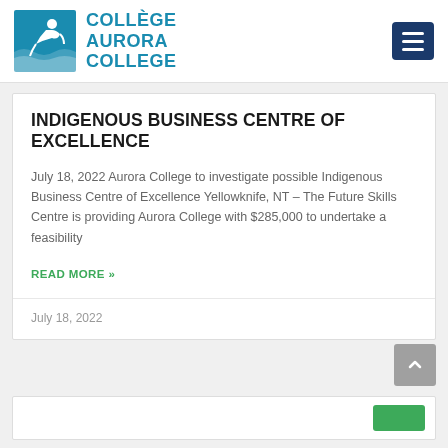[Figure (logo): Collège Aurora College logo with stylized figure and waves icon, and text 'COLLÈGE AURORA COLLEGE' in teal/blue]
INDIGENOUS BUSINESS CENTRE OF EXCELLENCE
July 18, 2022 Aurora College to investigate possible Indigenous Business Centre of Excellence Yellowknife, NT – The Future Skills Centre is providing Aurora College with $285,000 to undertake a feasibility
READ MORE »
July 18, 2022